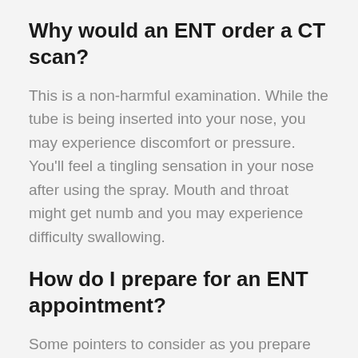Why would an ENT order a CT scan?
This is a non-harmful examination. While the tube is being inserted into your nose, you may experience discomfort or pressure. You'll feel a tingling sensation in your nose after using the spray. Mouth and throat might get numb and you may experience difficulty swallowing.
How do I prepare for an ENT appointment?
Some pointers to consider as you prepare for your first ENT doctor appointment